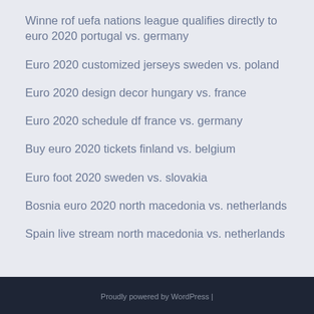Winne rof uefa nations league qualifies directly to euro 2020 portugal vs. germany
Euro 2020 customized jerseys sweden vs. poland
Euro 2020 design decor hungary vs. france
Euro 2020 schedule df france vs. germany
Buy euro 2020 tickets finland vs. belgium
Euro foot 2020 sweden vs. slovakia
Bosnia euro 2020 north macedonia vs. netherlands
Spain live stream north macedonia vs. netherlands
Proudly powered by WordPress |